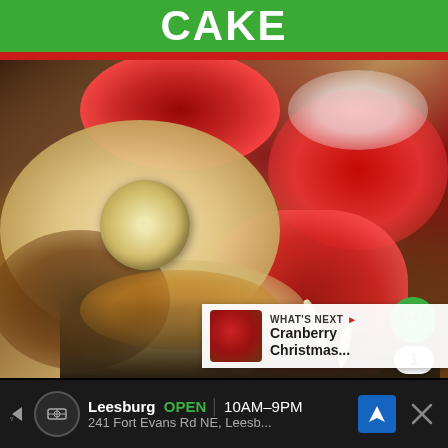CAKE
[Figure (photo): Close-up photo of cranberry Christmas cake with nuts, caramel sauce, cranberry sauce, and powdered sugar on top]
1
WHAT'S NEXT → Cranberry Christmas...
Leesburg OPEN 10AM–9PM 241 Fort Evans Rd NE, Leesb...